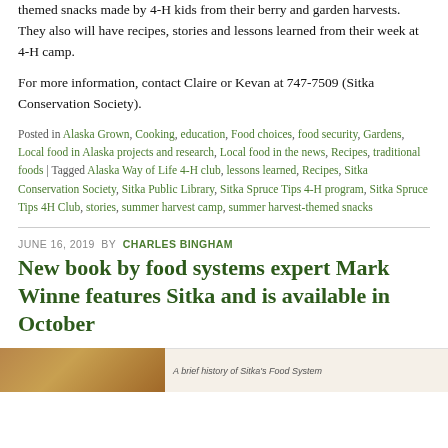themed snacks made by 4-H kids from their berry and garden harvests. They also will have recipes, stories and lessons learned from their week at 4-H camp.
For more information, contact Claire or Kevan at 747-7509 (Sitka Conservation Society).
Posted in Alaska Grown, Cooking, education, Food choices, food security, Gardens, Local food in Alaska projects and research, Local food in the news, Recipes, traditional foods | Tagged Alaska Way of Life 4-H club, lessons learned, Recipes, Sitka Conservation Society, Sitka Public Library, Sitka Spruce Tips 4-H program, Sitka Spruce Tips 4H Club, stories, summer harvest camp, summer harvest-themed snacks
JUNE 16, 2019 BY CHARLES BINGHAM
New book by food systems expert Mark Winne features Sitka and is available in October
[Figure (photo): Bottom strip showing a partial image on the left (warm brown tones, outdoor/food scene) and on the right a white area with italic caption text reading 'A brief history of Sitka's Food System']